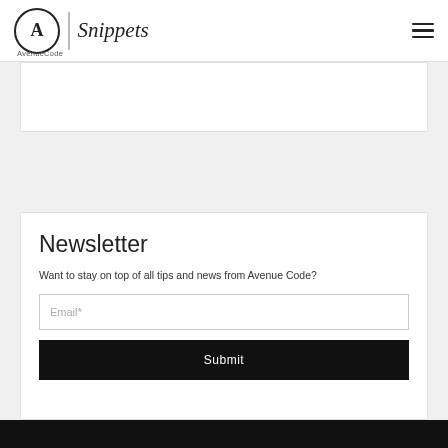AvenueCode Snippets
Newsletter
Want to stay on top of all tips and news from Avenue Code?
Email*
Submit